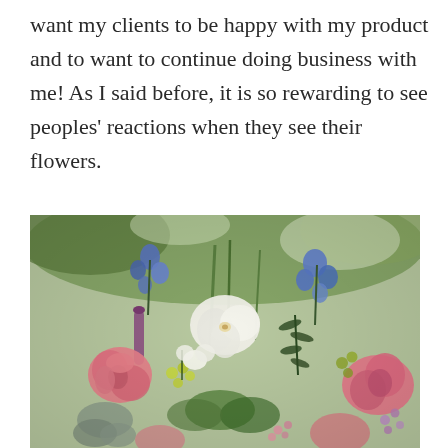want my clients to be happy with my product and to want to continue doing business with me! As I said before, it is so rewarding to see peoples' reactions when they see their flowers.
[Figure (photo): A colorful floral arrangement featuring pink roses, white orchids, blue delphiniums, purple flowers, and green foliage, photographed outdoors with a blurred green garden background.]